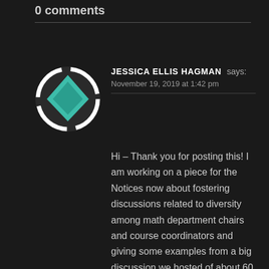0 comments
[Figure (illustration): Round avatar icon with a teal diamond shape in the center on a dark circular background with white border segments]
JESSICA ELLIS HAGMAN says:
November 19, 2019 at 1:42 pm
Hi – Thank you for posting this! I am working on a piece for the Notices now about fostering discussions related to diversity among math department chairs and course coordinators and giving some examples from a big discussion we hosted of about 60 math department folks. We are now reconsidering the Notices as our venue, but think we could also have an impact by publishing there and calling